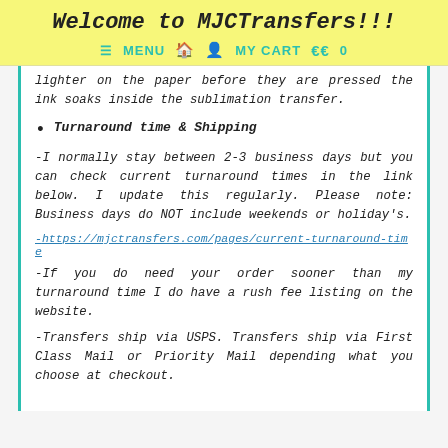Welcome to MJCTransfers!!!
≡ MENU  🏠  👤  MY CART  🛍  0
lighter on the paper before they are pressed the ink soaks inside the sublimation transfer.
Turnaround time & Shipping
-I normally stay between 2-3 business days but you can check current turnaround times in the link below. I update this regularly. Please note: Business days do NOT include weekends or holiday's.
-https://mjctransfers.com/pages/current-turnaround-time
-If you do need your order sooner than my turnaround time I do have a rush fee listing on the website.
-Transfers ship via USPS. Transfers ship via First Class Mail or Priority Mail depending what you choose at checkout.